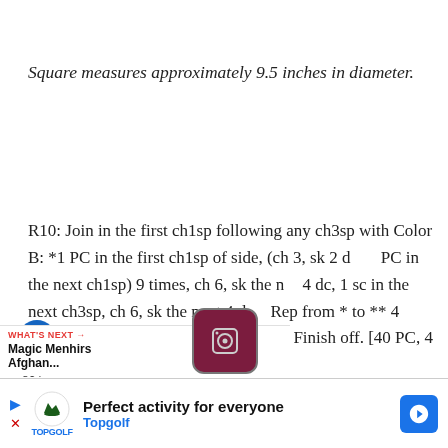Square measures approximately 9.5 inches in diameter.
R10: Join in the first ch1sp following any ch3sp with Color B: *1 PC in the first ch1sp of side, (ch 3, sk 2 dc, 1 PC in the next ch1sp) 9 times, ch 6, sk the next 4 dc, 1 sc in the next ch3sp, ch 6, sk the next 4 dc, Rep from * to ** 4 times total. Sl st to the first PC to join. Finish off. [40 PC, 4 sc, 36 ch3sp, 8
[Figure (screenshot): UI overlay showing heart/like button, view counter 864, and share button]
[Figure (screenshot): What's Next section showing Magic Menhirs Afghan... with app icon thumbnail]
[Figure (screenshot): Advertisement banner: Perfect activity for everyone - Topgolf]